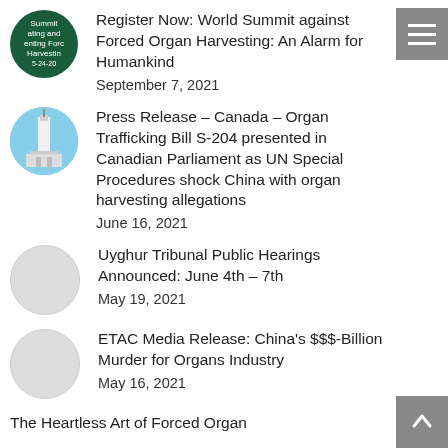Register Now: World Summit against Forced Organ Harvesting: An Alarm for Humankind
September 7, 2021
Press Release – Canada – Organ Trafficking Bill S-204 presented in Canadian Parliament as UN Special Procedures shock China with organ harvesting allegations
June 16, 2021
Uyghur Tribunal Public Hearings Announced: June 4th – 7th
May 19, 2021
ETAC Media Release: China's $$$-Billion Murder for Organs Industry
May 16, 2021
The Heartless Art of Forced Organ